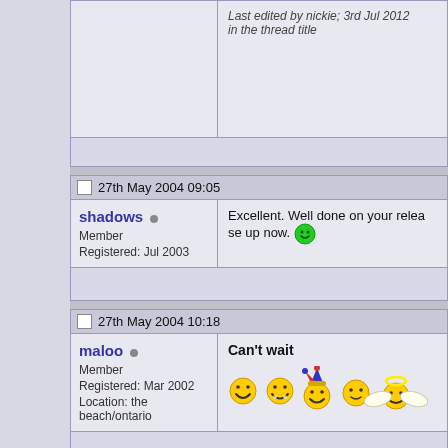Last edited by nickie; 3rd Jul 2012 in the thread title
27th May 2004 09:05
shadows
Member
Registered: Jul 2003
Excellent. Well done on your release up now.
27th May 2004 10:18
maloo
Member
Registered: Mar 2002
Location: the beach/ontario
Can't wait
[Figure (illustration): Row of emoji/emoticon faces: happy, laughing, jester hat, angel, and other faces]
27th May 2004 10:00